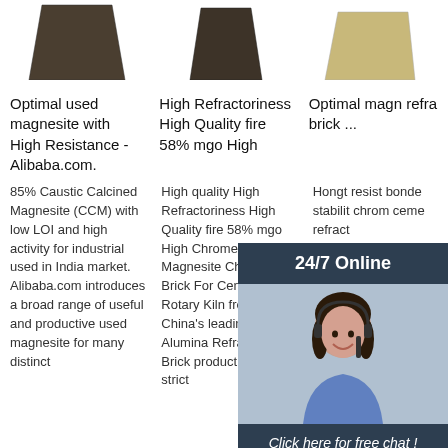[Figure (photo): Product image of dark magnesite brick - column 1]
[Figure (photo): Product image of dark magnesite brick - column 2]
[Figure (photo): Product image of light-colored refractory brick - column 3]
Optimal used magnesite with High Resistance - Alibaba.com.
High Refractoriness High Quality fire 58% mgo High
Optimal magnesite refractory brick ...
85% Caustic Calcined Magnesite (CCM) with low LOI and high activity for industrial used in India market. Alibaba.com introduces a broad range of useful and productive used magnesite for many distinct
High quality High Refractoriness High Quality fire 58% mgo High Chrome Magnesite Chrome Brick For Cement Rotary Kiln from China, China's leading High Alumina Refractory Brick product, with strict
Hongtao resistance bonded stability chrome cement refractoy $700.00-$1,100.00 Ton 1.0 Tons (Min. Order)
[Figure (photo): Customer service representative with headset - 24/7 Online chat overlay panel]
Click here for free chat !
QUOTATION
Get Price